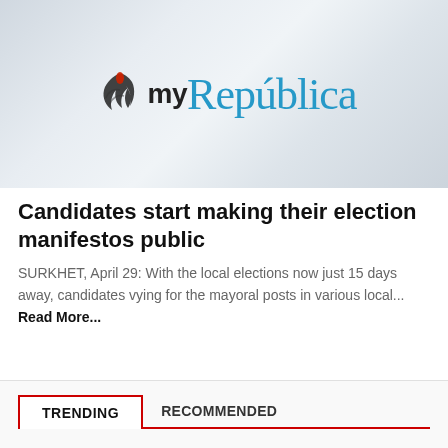[Figure (logo): myRepública logo on a light gray gradient background. The logo shows a stylized flame/swirl icon followed by 'my' in dark bold sans-serif and 'República' in large teal/blue serif font.]
Candidates start making their election manifestos public
SURKHET, April 29: With the local elections now just 15 days away, candidates vying for the mayoral posts in various local... Read More...
TRENDING
RECOMMENDED